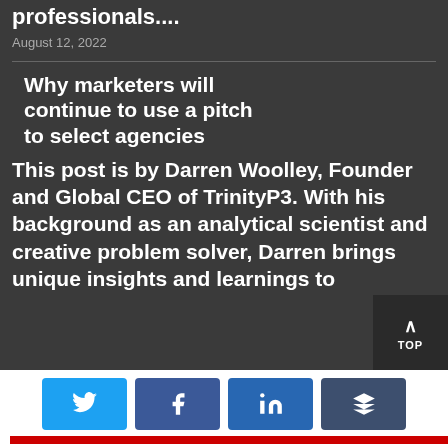professionals....
August 12, 2022
Why marketers will continue to use a pitch to select agencies
This post is by Darren Woolley, Founder and Global CEO of TrinityP3. With his background as an analytical scientist and creative problem solver, Darren brings unique insights and learnings to
[Figure (other): Social share buttons for Twitter, Facebook, LinkedIn, and Buffer, with a red bar below]